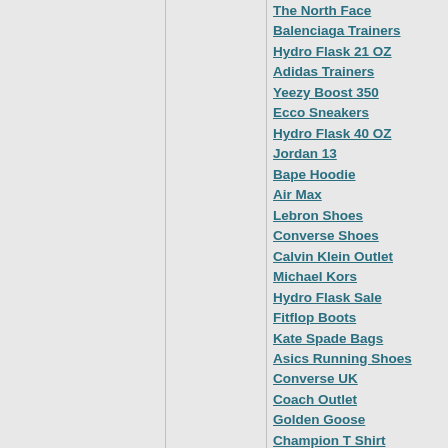The North Face
Balenciaga Trainers
Hydro Flask 21 OZ
Adidas Trainers
Yeezy Boost 350
Ecco Sneakers
Hydro Flask 40 OZ
Jordan 13
Bape Hoodie
Air Max
Lebron Shoes
Converse Shoes
Calvin Klein Outlet
Michael Kors
Hydro Flask Sale
Fitflop Boots
Kate Spade Bags
Asics Running Shoes
Converse UK
Coach Outlet
Golden Goose
Champion T Shirt
Calvin Klein
The North Face
Kate Spade Outlet
Nike Jordan
Jordan 33
Coach Bags
A Bathing Ape
Burberry UK
Calvin Klien
Bose
Cartier Jewelry
Canada Goose Jacket
Nike UK
Brooks Tennis Shoes
Yeezy
Air Max 270